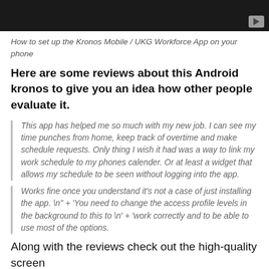[Figure (screenshot): Dark video thumbnail with a play button in the top-right corner]
How to set up the Kronos Mobile / UKG Workforce App on your phone
Here are some reviews about this Android kronos to give you an idea how other people evaluate it.
This app has helped me so much with my new job. I can see my time punches from home, keep track of overtime and make schedule requests. Only thing I wish it had was a way to link my work schedule to my phones calender. Or at least a widget that allows my schedule to be seen without logging into the app.
Works fine once you understand it's not a case of just installing the app. \n" + 'You need to change the access profile levels in the background to this to \n' + 'work correctly and to be able to use most of the options.
Along with the reviews check out the high-quality screen